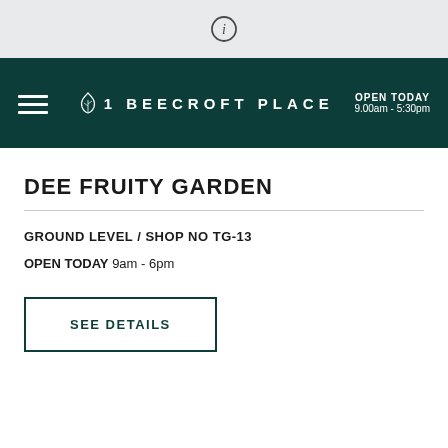[Figure (other): Information icon (circled letter i) on a light grey top bar]
1 BEECROFT PLACE — OPEN TODAY 9.00am - 5:30pm
DEE FRUITY GARDEN
GROUND LEVEL / SHOP NO TG-13
OPEN TODAY 9am - 6pm
SEE DETAILS